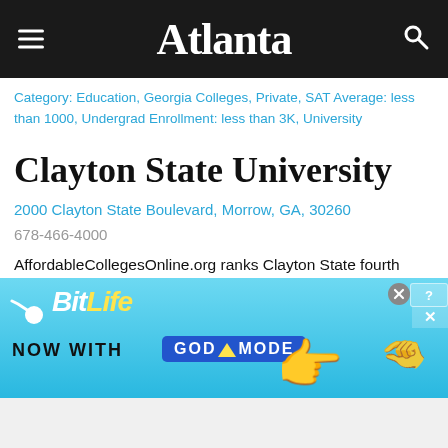Atlanta
Category: Education, Georgia Colleges, Private, SAT Average: less than 1000, Undergrad Enrollment: less than 3K, University
Clayton State University
2000 Clayton State Boulevard, Morrow, GA, 30260
678-466-4000
AffordableCollegesOnline.org ranks Clayton State fourth among 188 schools in Georgia for return on investment for students.
[Figure (screenshot): BitLife advertisement banner: 'BitLife - Now with God Mode' with hand pointing graphic on light blue background]